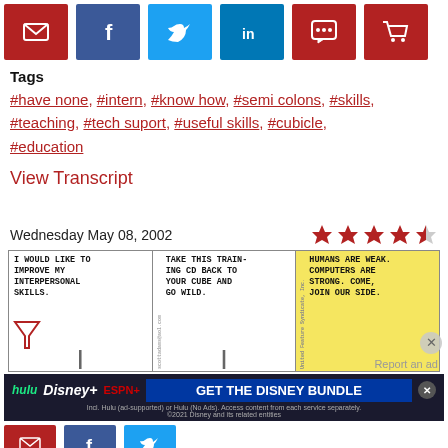[Figure (infographic): Social sharing buttons: email (red), Facebook (dark blue), Twitter (light blue), LinkedIn (blue), comment (red), cart (red)]
Tags
#have none, #intern, #know how, #semi colons, #skills, #teaching, #tech suport, #useful skills, #cubicle, #education
View Transcript
Wednesday May 08, 2002
[Figure (illustration): Dilbert comic strip with three panels. Panel 1: character says 'I WOULD LIKE TO IMPROVE MY INTERPERSONAL SKILLS.' Panel 2: 'TAKE THIS TRAINING CD BACK TO YOUR CUBE AND GO WILD.' Panel 3: Yellow panel: 'HUMANS ARE WEAK. COMPUTERS ARE STRONG. COME, JOIN OUR SIDE.']
[Figure (infographic): Disney Bundle advertisement banner: Hulu, Disney+, ESPN+ logos with 'GET THE DISNEY BUNDLE' call to action. Fine print: 'Incl. Hulu (ad-supported) or Hulu (No Ads). Access content from each service separately. ©2021 Disney and its related entities']